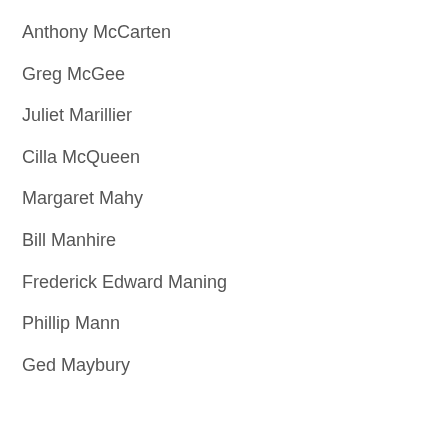Anthony McCarten
Greg McGee
Juliet Marillier
Cilla McQueen
Margaret Mahy
Bill Manhire
Frederick Edward Maning
Phillip Mann
Ged Maybury